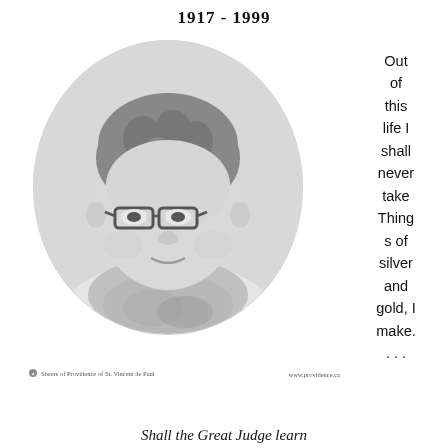1917 - 1999
[Figure (photo): Black and white oval portrait photograph of an elderly woman wearing glasses and a patterned blouse/scarf, smiling slightly.]
Out of this life I shall never take Things of silver and gold, I make.
Sisters of Providence of St. Vincent de Paul   www.providence.ca
Shall the Great Judge learn